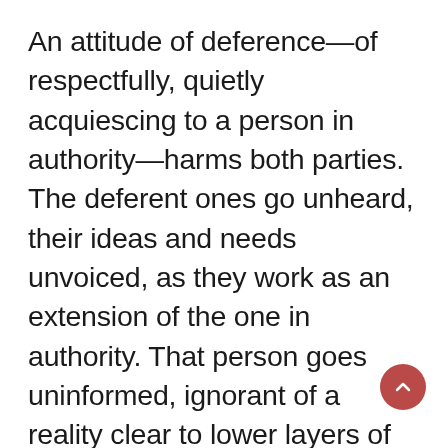An attitude of deference—of respectfully, quietly acquiescing to a person in authority—harms both parties. The deferent ones go unheard, their ideas and needs unvoiced, as they work as an extension of the one in authority. That person goes uninformed, ignorant of a reality clear to lower layers of the hierarchy.
Please distinguish this attitude of deference from conscious deferral to authority. Authority is essential for working in large groups. When I